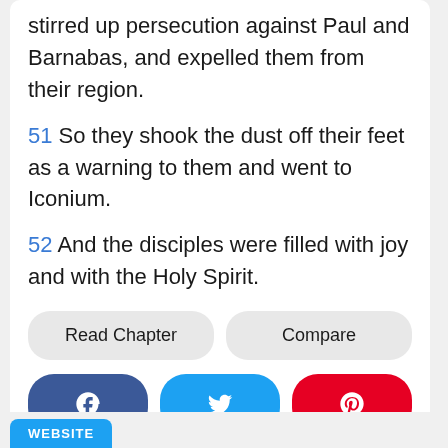stirred up persecution against Paul and Barnabas, and expelled them from their region.
51 So they shook the dust off their feet as a warning to them and went to Iconium.
52 And the disciples were filled with joy and with the Holy Spirit.
Read Chapter
Compare
[Figure (infographic): Social share buttons: Facebook (dark blue), Twitter (light blue), Pinterest (red)]
WEBSITE